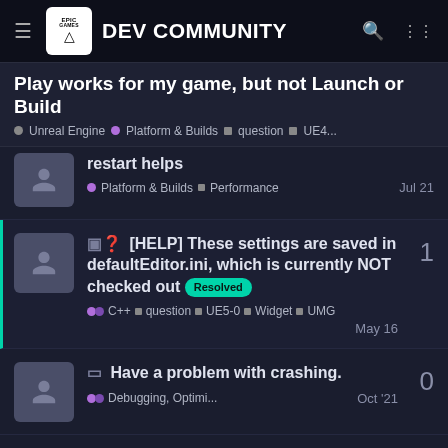Epic Games DEV COMMUNITY
Play works for my game, but not Launch or Build
Unreal Engine • Platform & Builds • question • UE4...
restart helps • Platform & Builds • Performance  Jul 21
[HELP] These settings are saved in defaultEditor.ini, which is currently NOT checked out Resolved  C++ • question • UE5-0 • Widget • UMG  May 16  1
Have a problem with crashing.  Debugging, Optimi...  Oct '21  0